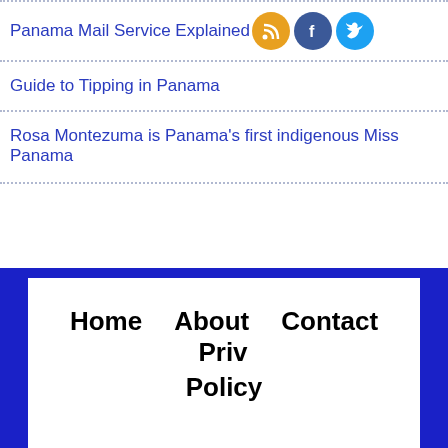Panama Mail Service Explained
[Figure (illustration): Three social media icons: RSS (orange), Facebook (blue), Twitter (light blue)]
Guide to Tipping in Panama
Rosa Montezuma is Panama's first indigenous Miss Panama
Home   About   Contact   Privacy Policy